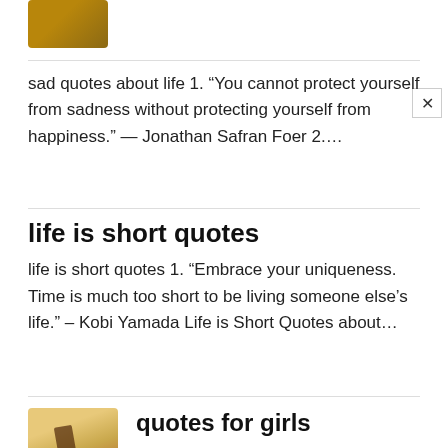sad quotes about life 1. “You cannot protect yourself from sadness without protecting yourself from happiness.” — Jonathan Safran Foer 2....
life is short quotes
life is short quotes 1. “Embrace your uniqueness. Time is much too short to be living someone else’s life.” – Kobi Yamada Life is Short Quotes about...
quotes for girls